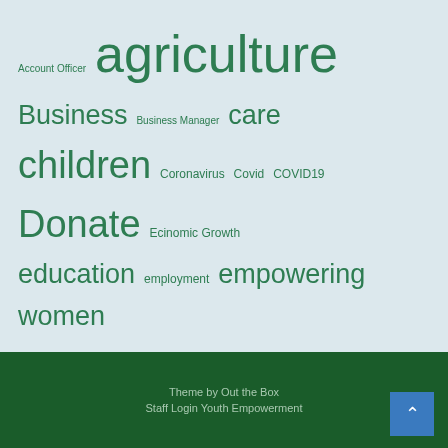[Figure (infographic): Tag cloud with various topics related to agriculture, empowerment, health, and development. Tags appear in varying sizes proportional to frequency/importance. Colors are shades of green on a light blue-grey background.]
Theme by Out the Box
Staff Login Youth Empowerment